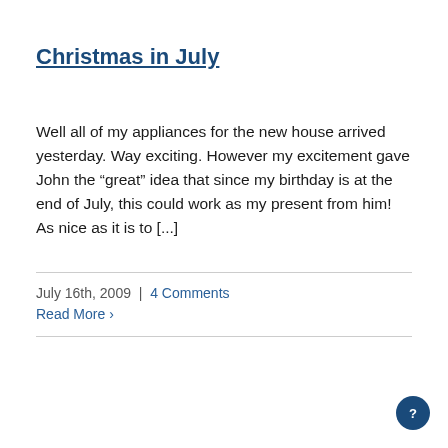Christmas in July
Well all of my appliances for the new house arrived yesterday. Way exciting. However my excitement gave John the “great” idea that since my birthday is at the end of July, this could work as my present from him!  As nice as it is to [...]
July 16th, 2009 | 4 Comments
Read More ›